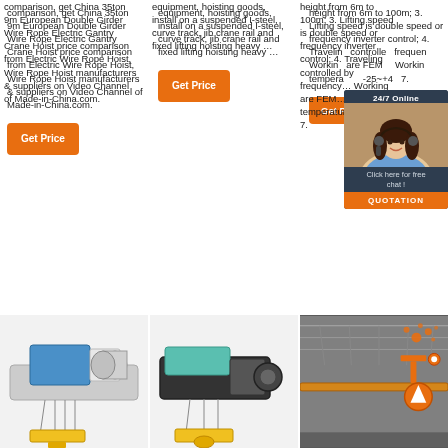comparison, get China 35ton 9m European Double Girder Wire Rope Electric Gantry Crane Hoist price comparison from Electric Wire Rope Hoist, Wire Rope Hoist manufacturers & suppliers on Video Channel of Made-in-China.com.
equipment, hoisting goods, install on a suspended I-steel, curve track, jib crane rail and fixed lifting hoisting heavy …
height from 6m to 100m; 3. Lifting speed is double speed or frequency inverter control; 4. Traveling controlled by frequency…Working are FEM… Working temperature -25~+42… 7.
[Figure (photo): Electric wire rope hoist crane product photo 1]
[Figure (photo): Electric wire rope hoist crane product photo 2]
[Figure (photo): Crane in industrial facility with orange branding overlay]